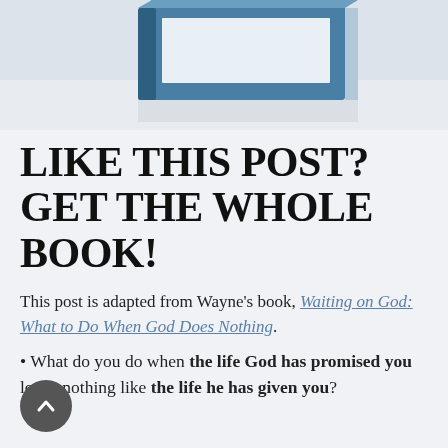[Figure (photo): Partial top view of a blue and white book cover, cropped at top of page]
LIKE THIS POST? GET THE WHOLE BOOK!
This post is adapted from Wayne’s book, Waiting on God: What to Do When God Does Nothing.
What do you do when the life God has promised you looks nothing like the life he has given you?